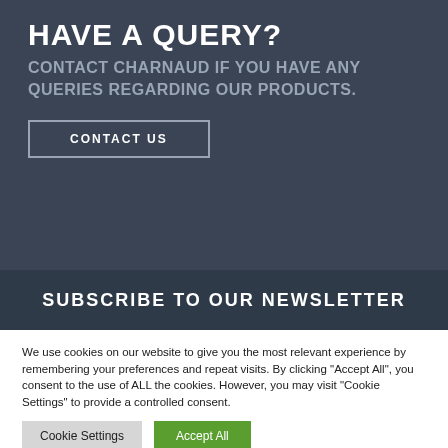HAVE A QUERY?
CONTACT CHARNAUD IF YOU HAVE ANY QUERIES REGARDING OUR PRODUCTS.
CONTACT US
SUBSCRIBE TO OUR NEWSLETTER
We use cookies on our website to give you the most relevant experience by remembering your preferences and repeat visits. By clicking "Accept All", you consent to the use of ALL the cookies. However, you may visit "Cookie Settings" to provide a controlled consent.
Cookie Settings
Accept All